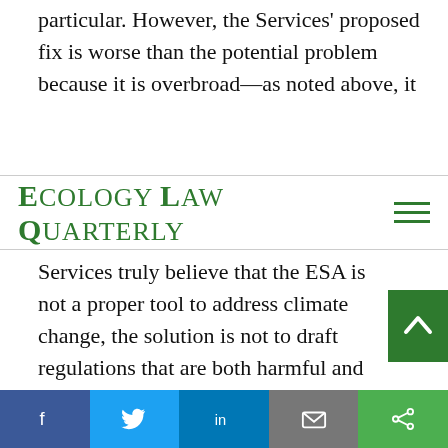particular. However, the Services' proposed fix is worse than the potential problem because it is overbroad—as noted above, it
ECOLOGY LAW QUARTERLY
Services truly believe that the ESA is not a proper tool to address climate change, the solution is not to draft regulations that are both harmful and likely contrary to the text of the Act, but instead to seek changes from Congress to the law. The Services should step back, reach out to Congress and the wide range of relevant stakeholders, and develop a
Facebook Twitter LinkedIn Email Share